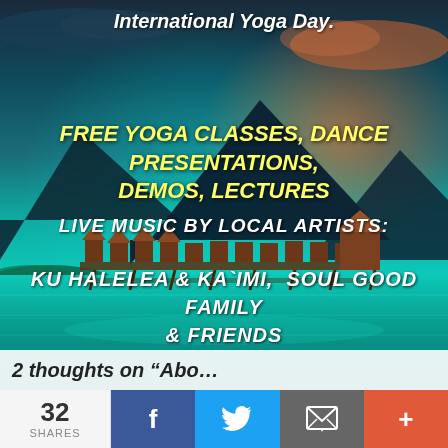[Figure (photo): Tropical lake scene with mountains in background, thatched huts on stilts over turquoise water, dramatic sunset sky with clouds in teal and orange tones]
International Yoga Day.
FREE YOGA CLASSES, DANCE PRESENTATIONS, DEMOS, LECTURES
LIVE MUSIC BY LOCAL ARTISTS:
KU HALELEA & KA`IMI,  SOUL GOOD FAMILY & FRIENDS
2 thoughts on “Abo...
32 SHARES